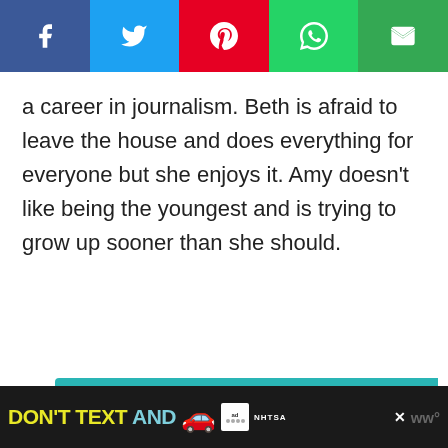[Figure (other): Social media share bar with icons for Facebook (dark blue), Twitter (light blue), Pinterest (red), WhatsApp (teal), and Email (green)]
a career in journalism. Beth is afraid to leave the house and does everything for everyone but she enjoys it. Amy doesn’t like being the youngest and is trying to grow up sooner than she should.
[Figure (other): Advertisement banner with teal background saying 'It’s time to talk about Alzheimer’s.' with a 'LEARN MORE' button and 'alz.org/ourstories' URL]
[Figure (other): Bottom banner advertisement: 'DON'T TEXT AND' with car emoji and NHTSA logo on dark background]